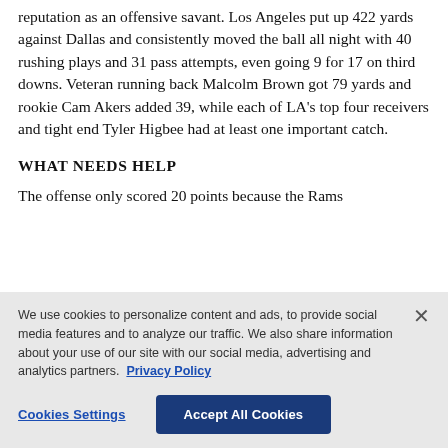reputation as an offensive savant. Los Angeles put up 422 yards against Dallas and consistently moved the ball all night with 40 rushing plays and 31 pass attempts, even going 9 for 17 on third downs. Veteran running back Malcolm Brown got 79 yards and rookie Cam Akers added 39, while each of LA's top four receivers and tight end Tyler Higbee had at least one important catch.
WHAT NEEDS HELP
The offense only scored 20 points because the Rams
We use cookies to personalize content and ads, to provide social media features and to analyze our traffic. We also share information about your use of our site with our social media, advertising and analytics partners. Privacy Policy